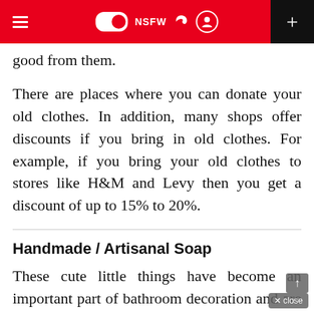≡ NSFW + [toggle, moon, user icons]
good from them.
There are places where you can donate your old clothes. In addition, many shops offer discounts if you bring in old clothes. For example, if you bring your old clothes to stores like H&M and Levy then you get a discount of up to 15% to 20%.
Handmade / Artisanal Soap
These cute little things have become an important part of bathroom decoration and are a good gift to give. These soaps are Eco-friendly products in being used by many because of their size in making it Th